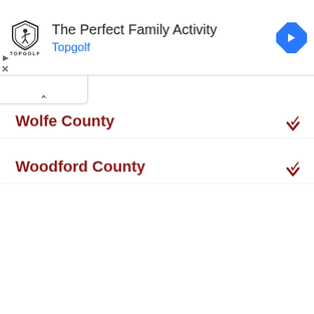[Figure (advertisement): Topgolf advertisement banner with logo, title 'The Perfect Family Activity', and blue navigation arrow icon]
Wolfe County
Woodford County